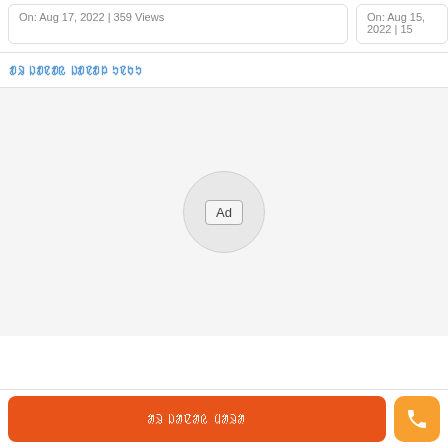On: Aug 17, 2022 | 359 Views
On: Aug 15, 2022 | 15...
ᱟᱨ ᱡᱟᱱᱟᱭ ᱡᱟᱱᱟᱞ ᱩᱱᱠᱩ
[Figure (other): Advertisement placeholder area with circular Ad badge in the center on a light gray background]
ᱟᱨ ᱡᱟᱱᱟᱭ ᱢᱟᱨᱟ
[Figure (other): Orange phone call button icon]